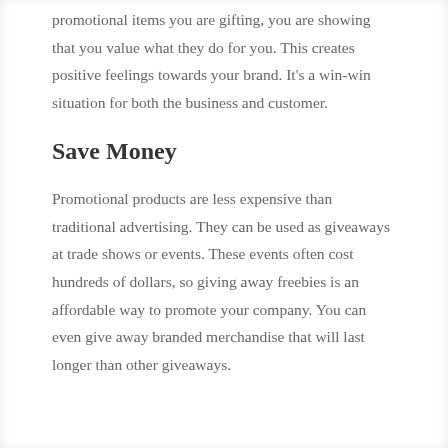promotional items you are gifting, you are showing that you value what they do for you. This creates positive feelings towards your brand. It’s a win-win situation for both the business and customer.
Save Money
Promotional products are less expensive than traditional advertising. They can be used as giveaways at trade shows or events. These events often cost hundreds of dollars, so giving away freebies is an affordable way to promote your company. You can even give away branded merchandise that will last longer than other giveaways.